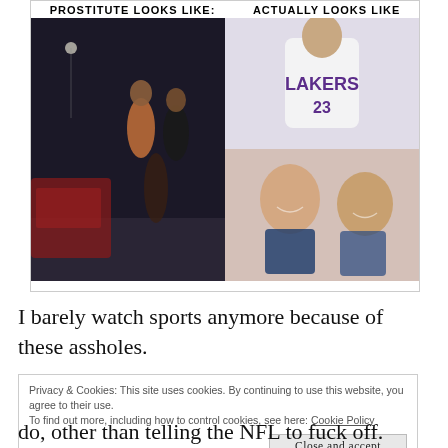[Figure (photo): A meme image showing two columns: left side labeled 'PROSTITUTE LOOKS LIKE' showing women on a street at night, right side labeled 'ACTUALLY LOOKS LIKE' showing photos of public figures including a basketball player in a Lakers #23 jersey, an older man in a suit, and two men smiling together.]
I barely watch sports anymore because of these assholes.
Privacy & Cookies: This site uses cookies. By continuing to use this website, you agree to their use.
To find out more, including how to control cookies, see here: Cookie Policy
Close and accept
do, other than telling the NFL to fuck off.